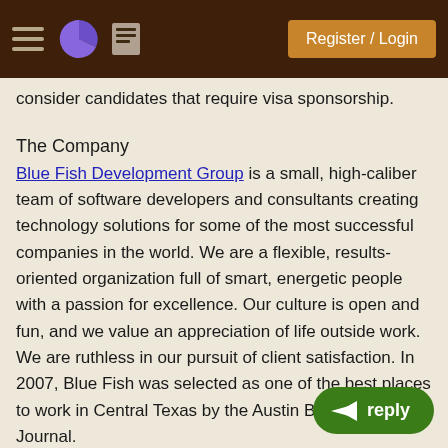Register / Login
consider candidates that require visa sponsorship.
The Company
Blue Fish Development Group is a small, high-caliber team of software developers and consultants creating technology solutions for some of the most successful companies in the world. We are a flexible, results-oriented organization full of smart, energetic people with a passion for excellence. Our culture is open and fun, and we value an appreciation of life outside work. We are ruthless in our pursuit of client satisfaction. In 2007, Blue Fish was selected as one of the best places to work in Central Texas by the Austin Business Journal.
Blue Fish is located in fabulous Austin, Tex... clients nationwide.